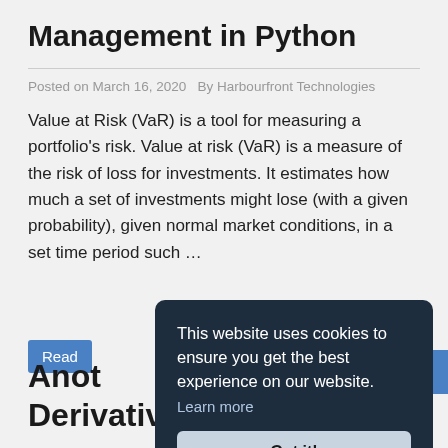Management in Python
Posted on March 16, 2020   By Harbourfront Technologies
Value at Risk (VaR) is a tool for measuring a portfolio's risk. Value at risk (VaR) is a measure of the risk of loss for investments. It estimates how much a set of investments might lose (with a given probability), given normal market conditions, in a set time period such …
Read
This website uses cookies to ensure you get the best experience on our website.
Learn more
Got it!
Anot
Deriv...